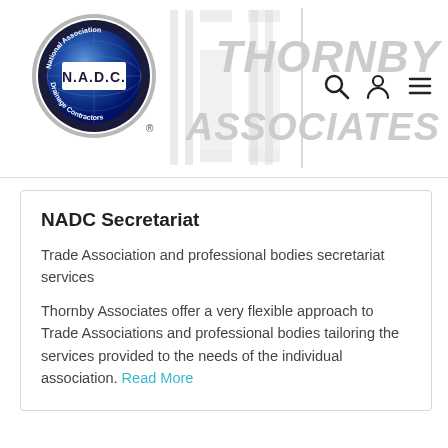[Figure (logo): NADC circular logo with text 'National Association Drainage Contractors' and 'N.A.D.C.' in center on blue globe, registered trademark symbol]
[Figure (illustration): Faded grey italic text reading 'THORNBY ASSOCIATES' as background header watermark, with faded architectural column/pillar graphics]
[Figure (infographic): Search icon (magnifying glass), user/person icon, and hamburger menu icon in header navigation area]
NADC Secretariat
Trade Association and professional bodies secretariat services
Thornby Associates offer a very flexible approach to Trade Associations and professional bodies tailoring the services provided to the needs of the individual association. Read More
[Figure (illustration): Illustration of tree roots system, partially visible, with orange and green ground/soil colors and brown root branches spreading out]